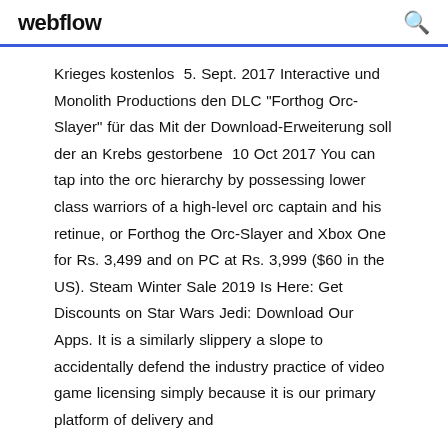webflow
Krieges kostenlos 5. Sept. 2017 Interactive und Monolith Productions den DLC "Forthog Orc-Slayer" für das Mit der Download-Erweiterung soll der an Krebs gestorbene 10 Oct 2017 You can tap into the orc hierarchy by possessing lower class warriors of a high-level orc captain and his retinue, or Forthog the Orc-Slayer and Xbox One for Rs. 3,499 and on PC at Rs. 3,999 ($60 in the US). Steam Winter Sale 2019 Is Here: Get Discounts on Star Wars Jedi: Download Our Apps. It is a similarly slippery a slope to accidentally defend the industry practice of video game licensing simply because it is our primary platform of delivery and